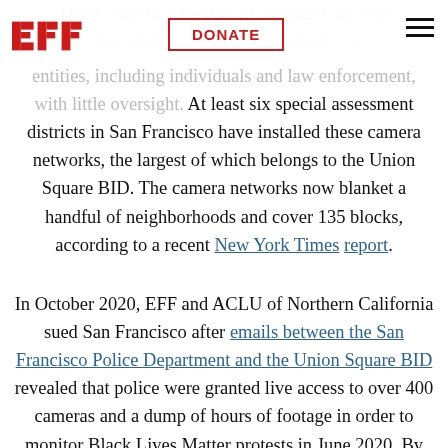EFF logo, DONATE button, hamburger menu
These camera networks are managed by staff within the neighborhood and streamed to a room, but footage can be shared with other entities, including individuals and law enforcement, with little oversight. At least six special assessment districts in San Francisco have installed these camera networks, the largest of which belongs to the Union Square BID. The camera networks now blanket a handful of neighborhoods and cover 135 blocks, according to a recent New York Times report.
In October 2020, EFF and ACLU of Northern California sued San Francisco after emails between the San Francisco Police Department and the Union Square BID revealed that police were granted live access to over 400 cameras and a dump of hours of footage in order to monitor Black Lives Matter protests in June 2020. By gaining access, the SFPD